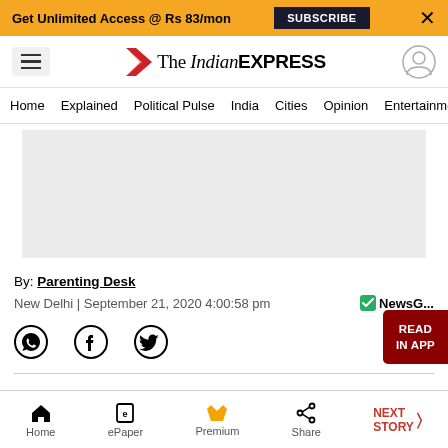Get Unlimited Access @ Rs 83/mon  SUBSCRIBE  X
[Figure (logo): The Indian Express logo with red chevron icon]
Home  Explained  Political Pulse  India  Cities  Opinion  Entertainment
[Figure (photo): Grey advertisement placeholder rectangle]
By: Parenting Desk
New Delhi | September 21, 2020 4:00:58 pm  NewsG...
[Figure (infographic): Social share icons: WhatsApp, Facebook, Twitter]
Home  ePaper  Premium  Share  NEXT STORY >